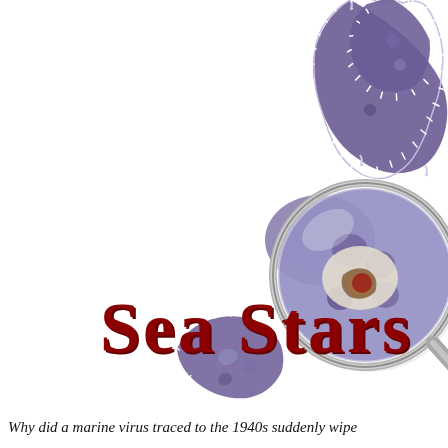[Figure (illustration): A disintegrating purple sea star (starfish) with arms falling apart, overlaid with a magnifying glass showing a close-up of a diseased lesion on the sea star's surface. The background is white. The image depicts sea star wasting disease.]
Sea Stars
Why did a marine virus traced to the 1940s suddenly wipe